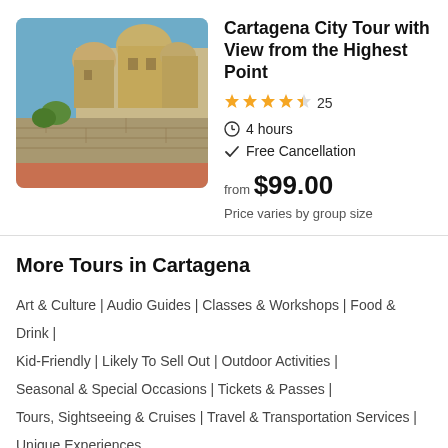[Figure (photo): Photo of Cartagena historical buildings with domed church and stone walls under blue sky]
Cartagena City Tour with View from the Highest Point
★★★★½ 25
4 hours
Free Cancellation
from $99.00
Price varies by group size
More Tours in Cartagena
Art & Culture | Audio Guides | Classes & Workshops | Food & Drink | Kid-Friendly | Likely To Sell Out | Outdoor Activities | Seasonal & Special Occasions | Tickets & Passes | Tours, Sightseeing & Cruises | Travel & Transportation Services | Unique Experiences